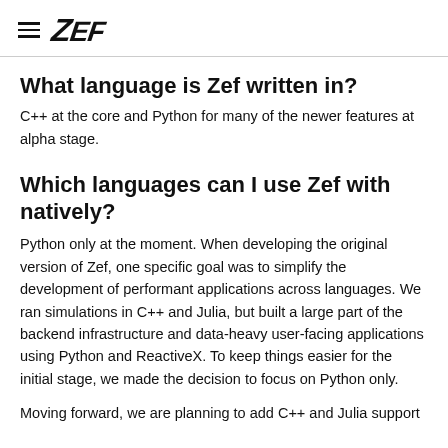≡ Zef
What language is Zef written in?
C++ at the core and Python for many of the newer features at alpha stage.
Which languages can I use Zef with natively?
Python only at the moment. When developing the original version of Zef, one specific goal was to simplify the development of performant applications across languages. We ran simulations in C++ and Julia, but built a large part of the backend infrastructure and data-heavy user-facing applications using Python and ReactiveX. To keep things easier for the initial stage, we made the decision to focus on Python only.
Moving forward, we are planning to add C++ and Julia support